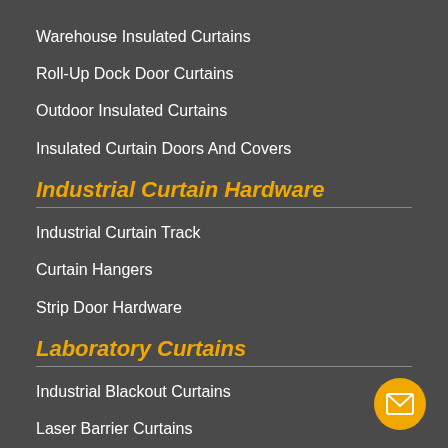Warehouse Insulated Curtains
Roll-Up Dock Door Curtains
Outdoor Insulated Curtains
Insulated Curtain Doors And Covers
Industrial Curtain Hardware
Industrial Curtain Track
Curtain Hangers
Strip Door Hardware
Laboratory Curtains
Industrial Blackout Curtains
Laser Barrier Curtains